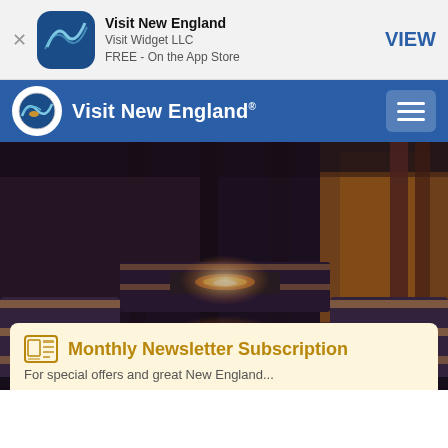Visit New England
Visit Widget LLC
FREE - On the App Store
VIEW
Visit New England
[Figure (photo): Interior of a lounge or restaurant with striped sofas and glowing fire pit tables, photographed in warm amber lighting with large windows in the background.]
Monthly Newsletter Subscription
For special offers and great New England...